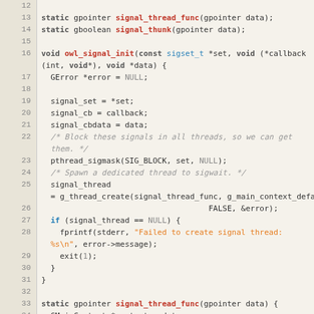[Figure (screenshot): Source code listing in C showing signal handling functions. Lines 12-40. Syntax-highlighted code with line numbers in a monospace editor view. Shows static function declarations, owl_signal_init function definition, pthread_sigmask call, g_thread_create call, error handling, and static signal_thread_func definition with while loop.]